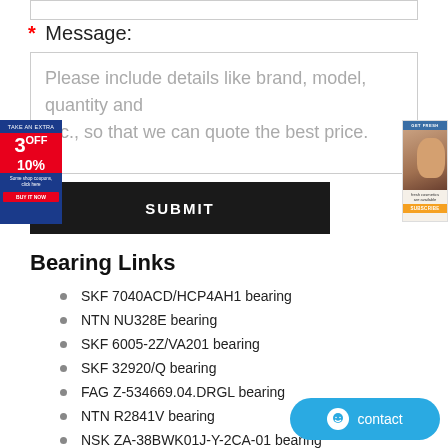* Message:
Please include details like brand, model, quantity and etc., so that we can quote the best price.
SUBMIT
Bearing Links
SKF 7040ACD/HCP4AH1 bearing
NTN NU328E bearing
SKF 6005-2Z/VA201 bearing
SKF 32920/Q bearing
FAG Z-534669.04.DRGL bearing
NTN R2841V bearing
NSK ZA-38BWK01J-Y-2CA-01 bearing
KOYO DC4936VW bearing
KOYO 3NCHAR030C bearing
NSK 53224U bearing